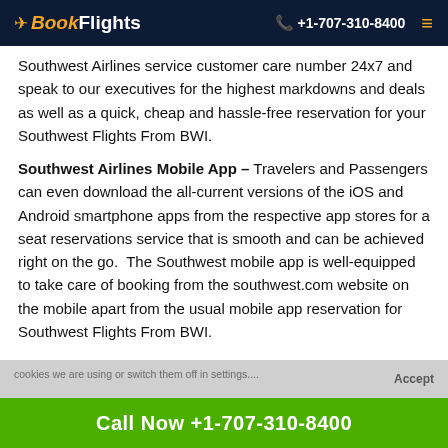BookFlights | +1-707-310-8400
Southwest Airlines service customer care number 24x7 and speak to our executives for the highest markdowns and deals as well as a quick, cheap and hassle-free reservation for your Southwest Flights From BWI.
Southwest Airlines Mobile App – Travelers and Passengers can even download the all-current versions of the iOS and Android smartphone apps from the respective app stores for a seat reservations service that is smooth and can be achieved right on the go. The Southwest mobile app is well-equipped to take care of booking from the southwest.com website on the mobile apart from the usual mobile app reservation for Southwest Flights From BWI.
Call Now +1-707-310-8400